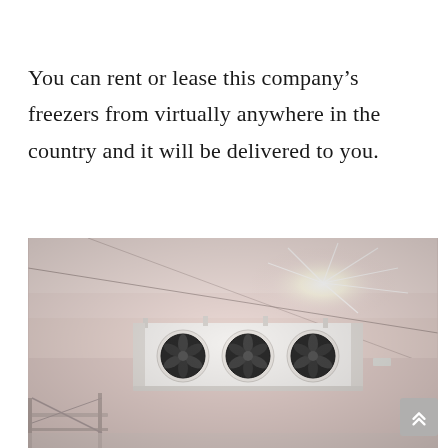You can rent or lease this company's freezers from virtually anywhere in the country and it will be delivered to you.
[Figure (photo): Interior photo of a cold storage freezer room showing a ceiling-mounted multi-fan evaporator/air cooler unit with three fans, white paneled walls, metal shelving, and a bright light source reflecting off the ceiling.]